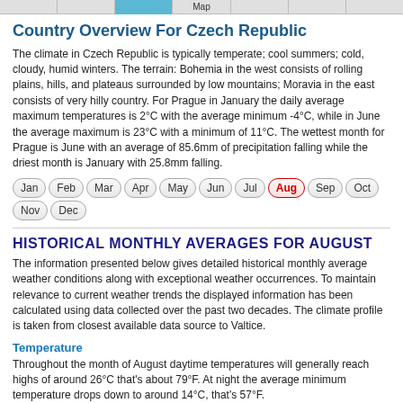Map
Country Overview For Czech Republic
The climate in Czech Republic is typically temperate; cool summers; cold, cloudy, humid winters. The terrain: Bohemia in the west consists of rolling plains, hills, and plateaus surrounded by low mountains; Moravia in the east consists of very hilly country. For Prague in January the daily average maximum temperatures is 2°C with the average minimum -4°C, while in June the average maximum is 23°C with a minimum of 11°C. The wettest month for Prague is June with an average of 85.6mm of precipitation falling while the driest month is January with 25.8mm falling.
Jan
Feb
Mar
Apr
May
Jun
Jul
Aug (active)
Sep
Oct
Nov
Dec
HISTORICAL MONTHLY AVERAGES FOR AUGUST
The information presented below gives detailed historical monthly average weather conditions along with exceptional weather occurrences. To maintain relevance to current weather trends the displayed information has been calculated using data collected over the past two decades. The climate profile is taken from closest available data source to Valtice.
Temperature
Throughout the month of August daytime temperatures will generally reach highs of around 26°C that's about 79°F. At night the average minimum temperature drops down to around 14°C, that's 57°F.
In recent times the highest recorded temperature in August has been 38°C that's 101°F with the lowest recorded temperature -5°C about 44°F.